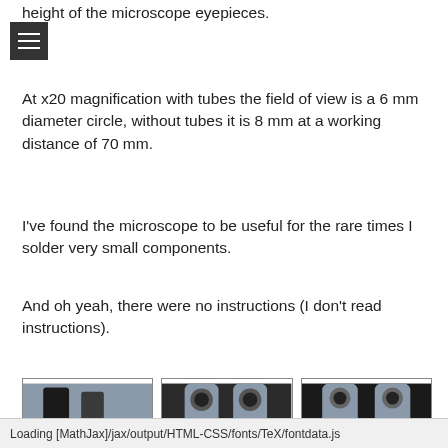height of the microscope eyepieces.
At x20 magnification with tubes the field of view is a 6 mm diameter circle, without tubes it is 8 mm at a working distance of 70 mm.
I've found the microscope to be useful for the rare times I solder very small components.
And oh yeah, there were no instructions (I don't read instructions).
[Figure (photo): Three photos of a microscope showing eyepieces and body with AOMEKIE branding]
Loading [MathJax]/jax/output/HTML-CSS/fonts/TeX/fontdata.js